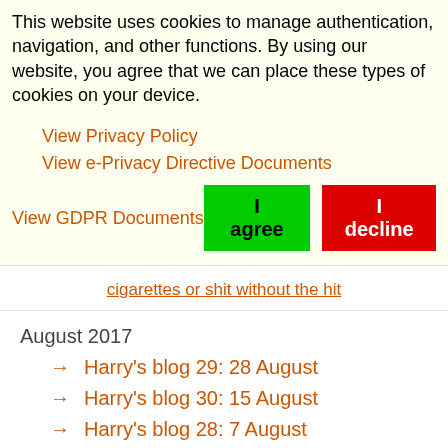This website uses cookies to manage authentication, navigation, and other functions. By using our website, you agree that we can place these types of cookies on your device.
View Privacy Policy
View e-Privacy Directive Documents
View GDPR Documents
cigarettes or shit without the hit
August 2017
→ Harry's blog 29: 28 August
→ Harry's blog 30: 15 August
→ Harry's blog 28: 7 August
July 2017